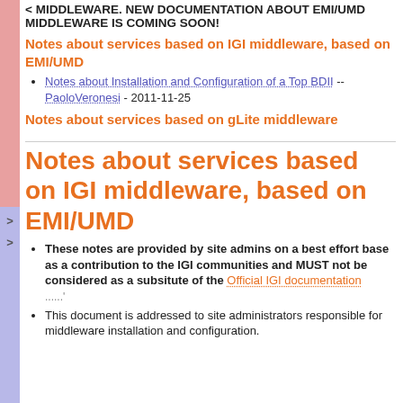MIDDLEWARE. NEW DOCUMENTATION ABOUT EMI/UMD MIDDLEWARE IS COMING SOON!
Notes about services based on IGI middleware, based on EMI/UMD
Notes about Installation and Configuration of a Top BDII -- PaoloVeronesi - 2011-11-25
Notes about services based on gLite middleware
Notes about services based on IGI middleware, based on EMI/UMD
These notes are provided by site admins on a best effort base as a contribution to the IGI communities and MUST not be considered as a subsitute of the Official IGI documentation ......'
This document is addressed to site administrators responsible for middleware installation and configuration.